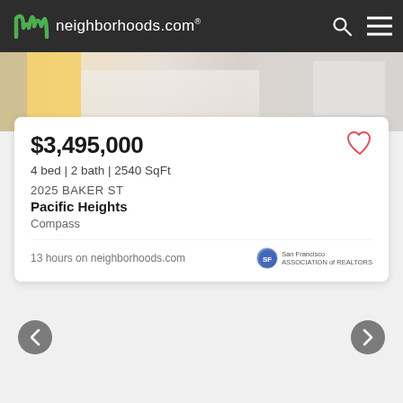neighborhoods.com
[Figure (photo): Partial view of a property interior/exterior photo strip]
$3,495,000
4 bed | 2 bath | 2540 SqFt
2025 BAKER ST
Pacific Heights
Compass
13 hours on neighborhoods.com